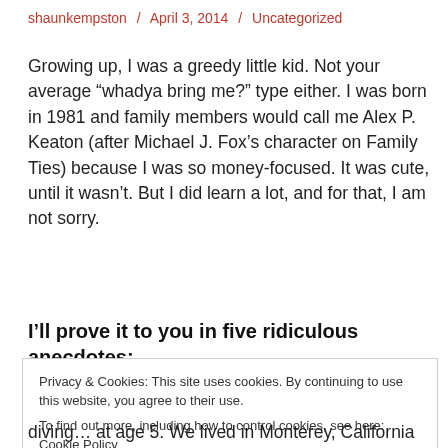shaunkempston / April 3, 2014 / Uncategorized
Growing up, I was a greedy little kid. Not your average “whadya bring me?” type either. I was born in 1981 and family members would call me Alex P. Keaton (after Michael J. Fox’s character on Family Ties) because I was so money-focused. It was cute, until it wasn’t. But I did learn a lot, and for that, I am not sorry.
I’ll prove it to you in five ridiculous anecdotes:
Privacy & Cookies: This site uses cookies. By continuing to use this website, you agree to their use.
To find out more, including how to control cookies, see here: Cookie Policy
diving… at age 5. We lived in Monterey, California